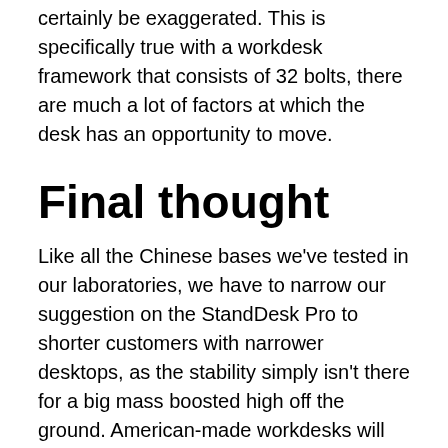certainly be exaggerated. This is specifically true with a workdesk framework that consists of 32 bolts, there are much a lot of factors at which the desk has an opportunity to move.
Final thought
Like all the Chinese bases we've tested in our laboratories, we have to narrow our suggestion on the StandDesk Pro to shorter customers with narrower desktops, as the stability simply isn't there for a big mass boosted high off the ground. American-made workdesks will certainly be better matched to these applications, and for a relatively apparent factor. Basically all American-made bases are made in US factories that are